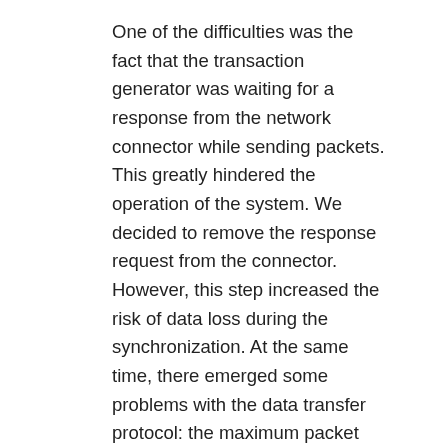One of the difficulties was the fact that the transaction generator was waiting for a response from the network connector while sending packets. This greatly hindered the operation of the system. We decided to remove the response request from the connector. However, this step increased the risk of data loss during the synchronization. At the same time, there emerged some problems with the data transfer protocol: the maximum packet datagram of 65,535 bytes for the UDP Protocol did not permit transmitting larger packets. Packet sizes were restricted to maximum size of the datagram to solve both of these problems, i.e. reducing the loss of data during transmission and increasing the speed of processing.
Another difficulty was the lack of data